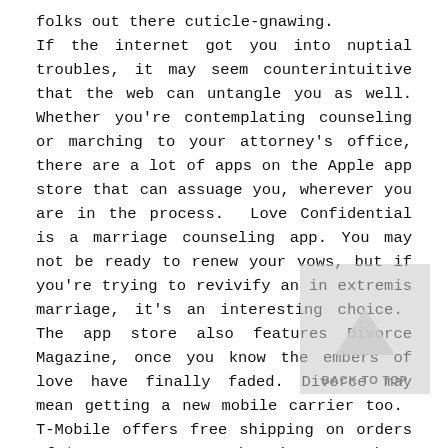folks out there cuticle-gnawing. If the internet got you into nuptial troubles, it may seem counterintuitive that the web can untangle you as well. Whether you're contemplating counseling or marching to your attorney's office, there are a lot of apps on the Apple app store that can assuage you, wherever you are in the process. Love Confidential is a marriage counseling app. You may not be ready to renew your vows, but if you're trying to revivify an in extremis marriage, it's an interesting choice. The app store also features Divorce Magazine, once you know the embers of love have finally faded. Divorce may mean getting a new mobile carrier too. T-Mobile offers free shipping on orders of $25 or more, so order that new Iphone and change your number. It's all too easy to be blasé about divorce because it's all too common. You may be humming D-I-V-O-R-C-E or welling up in tears when you hear Stand By Your Man, and that's okay. Men have unique considerations when severing a marriage too, and the Google Play store has some apps